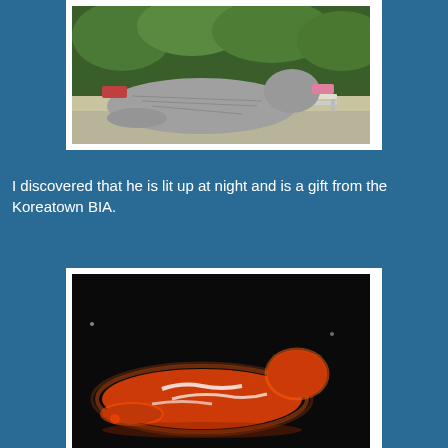[Figure (photo): Daytime photo of a large reclining tiger sculpture made of wire or twisted metal, situated outdoors among green trees, with a white bench visible in the background.]
I discovered that he is lit up at night and is a gift from the Koreatown BIA.
[Figure (photo): Nighttime photo of the same reclining tiger sculpture illuminated with red and white lights, glowing brightly against a dark background.]